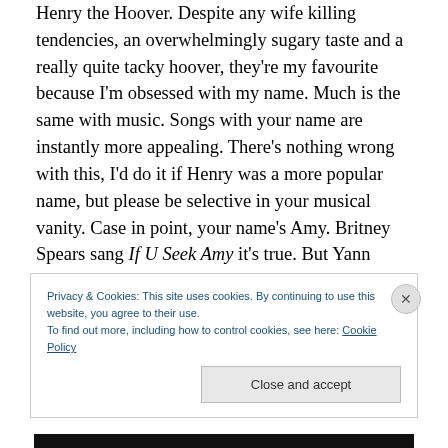Henry the Hoover. Despite any wife killing tendencies, an overwhelmingly sugary taste and a really quite tacky hoover, they're my favourite because I'm obsessed with my name. Much is the same with music. Songs with your name are instantly more appealing. There's nothing wrong with this, I'd do it if Henry was a more popular name, but please be selective in your musical vanity. Case in point, your name's Amy. Britney Spears sang If U Seek Amy it's true. But Yann Tierson also created an intriguing track entitled Amy, an infinitely more interesting choice. There's variation (unless your daughter is called Stacey, in which
Privacy & Cookies: This site uses cookies. By continuing to use this website, you agree to their use.
To find out more, including how to control cookies, see here: Cookie Policy
Close and accept